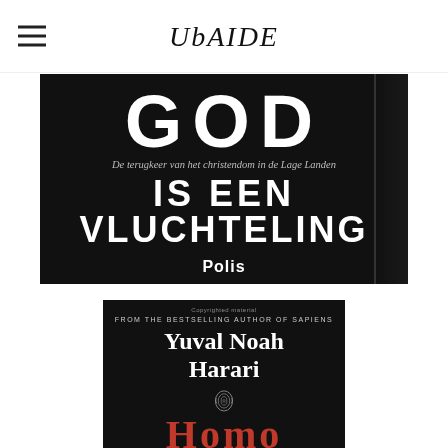UBAIDE
[Figure (photo): Book cover: 'GOD IS EEN VLUCHTELING - De terugkeer van het christendom in de Lage Landen' published by Polis, dark/black cover with white text]
[Figure (photo): Book cover: Yuval Noah Harari book, dark/black cover with white author name, subtitle 'From the bestselling author of Sapiens', fingerprint illustration, red title text 'Homo' (partially visible)]